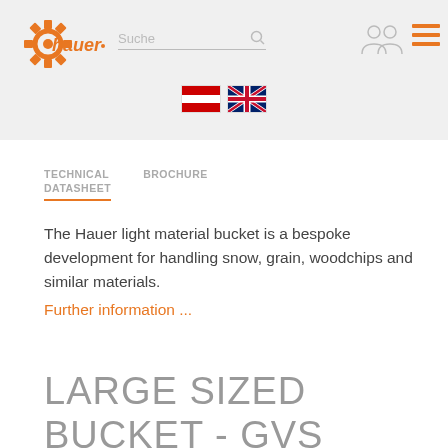[Figure (logo): Hauer company logo - orange gear with 'hauer' text]
Suche [search icon] [user icons] [hamburger menu]
[Figure (illustration): Austrian flag and UK flag icons for language selection]
TECHNICAL DATASHEET
BROCHURE
The Hauer light material bucket is a bespoke development for handling snow, grain, woodchips and similar materials.
Further information ...
LARGE SIZED
BUCKET - GVS